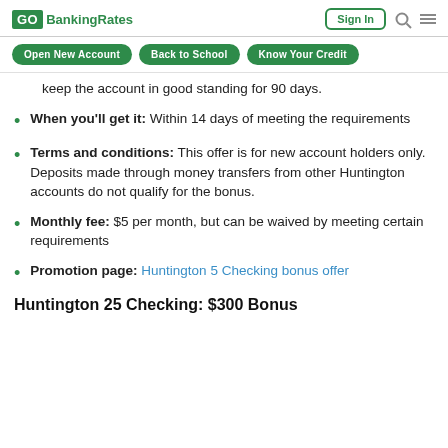GOBankingRates | Sign In
Open New Account | Back to School | Know Your Credit
keep the account in good standing for 90 days.
When you'll get it: Within 14 days of meeting the requirements
Terms and conditions: This offer is for new account holders only. Deposits made through money transfers from other Huntington accounts do not qualify for the bonus.
Monthly fee: $5 per month, but can be waived by meeting certain requirements
Promotion page: Huntington 5 Checking bonus offer
Huntington 25 Checking: $300 Bonus